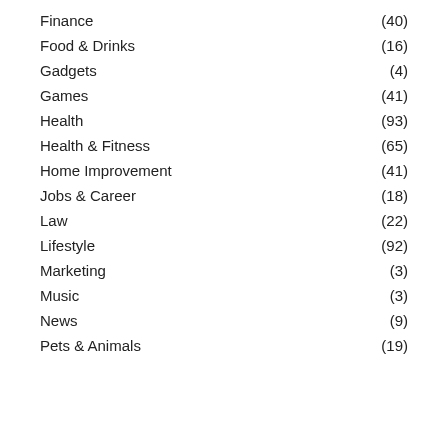Finance (40)
Food & Drinks (16)
Gadgets (4)
Games (41)
Health (93)
Health & Fitness (65)
Home Improvement (41)
Jobs & Career (18)
Law (22)
Lifestyle (92)
Marketing (3)
Music (3)
News (9)
Pets & Animals (19)